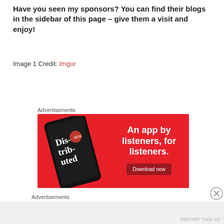Have you seen my sponsors? You can find their blogs in the sidebar of this page – give them a visit and enjoy!
Image 1 Credit: Imgur
Advertisements
[Figure (other): Advertisement banner for a podcast app called Distributed. Red background with a phone showing the app on the left. Text reads: An app by listeners, for listeners. Download now button.]
Advertisements